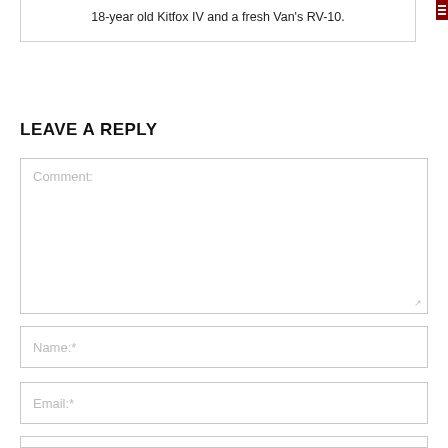18-year old Kitfox IV and a fresh Van's RV-10.
LEAVE A REPLY
Comment:
Name:*
Email:*